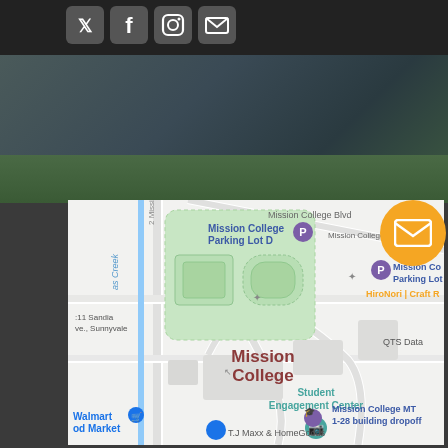[Figure (screenshot): Social media icons row at top: Twitter, Facebook, Instagram, YouTube/email icons in white on dark background]
Find Us
[Figure (map): Google Maps screenshot showing Mission College area in Sunnyvale/Santa Clara CA. Shows Mission College Blvd, Mission College Parking Lot D, Mission College Parking Lot B, HiroNori Craft Ramen, Student Engagement Center, QTS Data, Walmart Food Market, T.J. Maxx & HomeGoods, Mission College MT 1-28 building dropoff. Streets shown in white, campus area in light green, labeled 'Mission College' in dark red/maroon.]
[Figure (other): Orange circular email/envelope button overlay on top-right of map]